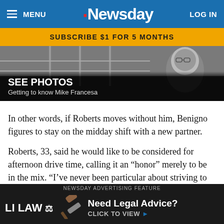MENU  Newsday  LOG IN
SUBSCRIBE $1 FOR 5 MONTHS
[Figure (photo): Black and white photo banner with text overlay 'SEE PHOTOS' and caption 'Getting to know Mike Francesa'. Shows a person's face on the right side.]
In other words, if Roberts moves without him, Benigno figures to stay on the midday shift with a new partner.
Roberts, 33, said he would like to be considered for afternoon drive time, calling it an “honor” merely to be in the mix. “I’ve never been particular about striving to do one shift or another,” he said. “When I was doing overnight here filling in, I was in heaven. Doing middays with Joe, I’m in heaven. I’m pretty happy”
[Figure (other): Newsday Advertising Feature banner: LI LAW ad with gavel image. Text reads 'Need Legal Advice? CLICK TO VIEW ►']